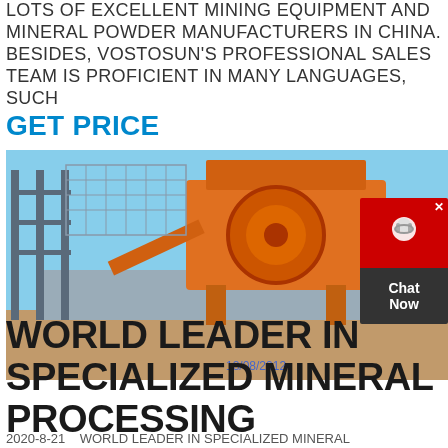LOTS OF EXCELLENT MINING EQUIPMENT AND MINERAL POWDER MANUFACTURERS IN CHINA. BESIDES, VOSTOSUN'S PROFESSIONAL SALES TEAM IS PROFICIENT IN MANY LANGUAGES, SUCH
GET PRICE
[Figure (photo): Large orange and grey mining/crushing equipment installed on a construction site platform with scaffolding, blue sky background, dated 18/08/2012]
[Figure (other): Chat support widget with red headset icon box and dark grey 'Chat Now' label]
WORLD LEADER IN SPECIALIZED MINERAL PROCESSING
2020-8-21    WORLD LEADER IN SPECIALIZED MINERAL